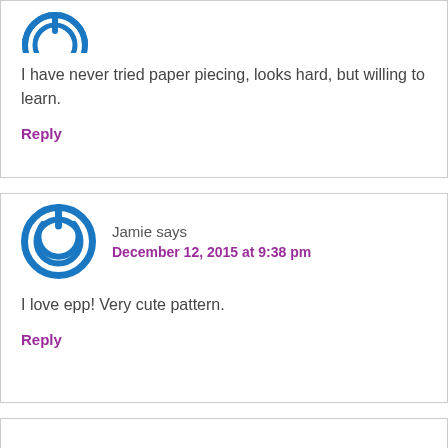[Figure (illustration): Partial blue circular power button icon avatar at top of first comment box]
I have never tried paper piecing, looks hard, but willing to learn.
Reply
[Figure (illustration): Blue circular power button icon avatar for Jamie's comment]
Jamie says
December 12, 2015 at 9:38 pm
I love epp! Very cute pattern.
Reply